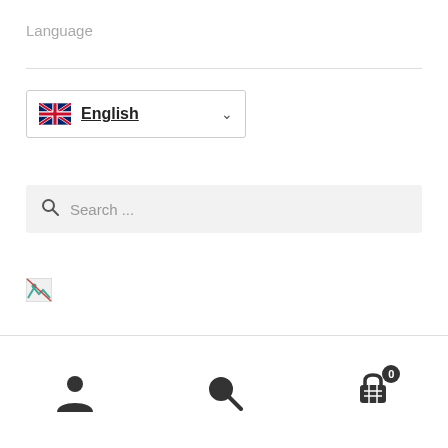Language
[Figure (screenshot): Language selector dropdown showing UK flag and 'English' with a chevron/dropdown arrow]
[Figure (screenshot): Search bar with magnifying glass icon and placeholder text 'Search ...']
[Figure (other): Broken image placeholder icon (small green/blue broken image icon)]
get
[Figure (infographic): Bottom navigation bar with person/account icon, search/magnifying glass icon, and shopping cart icon with badge showing 0]